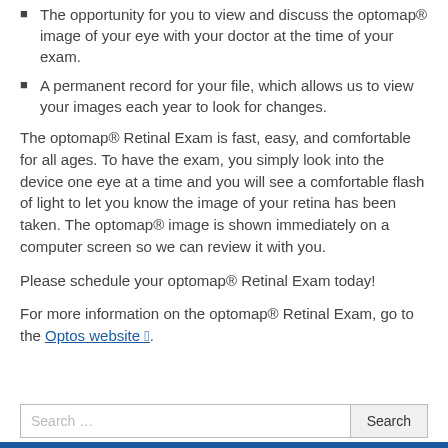The opportunity for you to view and discuss the optomap® image of your eye with your doctor at the time of your exam.
A permanent record for your file, which allows us to view your images each year to look for changes.
The optomap® Retinal Exam is fast, easy, and comfortable for all ages. To have the exam, you simply look into the device one eye at a time and you will see a comfortable flash of light to let you know the image of your retina has been taken. The optomap® image is shown immediately on a computer screen so we can review it with you.
Please schedule your optomap® Retinal Exam today!
For more information on the optomap® Retinal Exam, go to the Optos website.